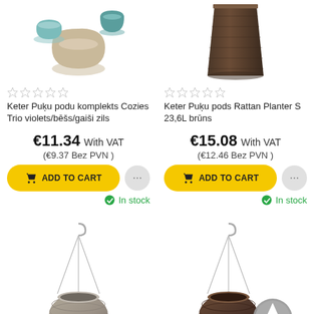[Figure (photo): Keter flower pot set Cozies Trio - violet/beige/light blue round pots]
[Figure (photo): Keter Rattan Planter S 23.6L brown tall square planter]
Keter Puķu podu komplekts Cozies Trio violets/bēšs/gaiši zils
Keter Puķu pods Rattan Planter S 23,6L brūns
€11.34 With VAT (€9.37 Bez PVN )
€15.08 With VAT (€12.46 Bez PVN )
ADD TO CART
ADD TO CART
In stock
In stock
[Figure (photo): Hanging plant pot in light grey/taupe color with metal chain]
[Figure (photo): Hanging plant pot in dark brown/chocolate color with metal chain, with scroll-to-top button overlay]